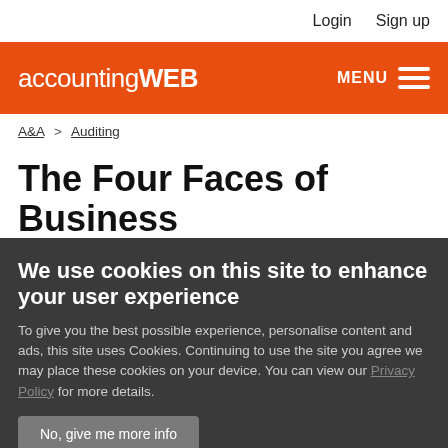Login  Sign up
[Figure (logo): AccountingWEB logo on orange header bar with MENU hamburger button]
A&A > Auditing
The Four Faces of Business Developers In CPA Firms
We use cookies on this site to enhance your user experience
To give you the best possible experience, personalise content and ads, this site uses Cookies. Continuing to use the site you agree we may place these cookies on your device. You can view our Privacy Policy for more details.
No, give me more info
OK, I agree